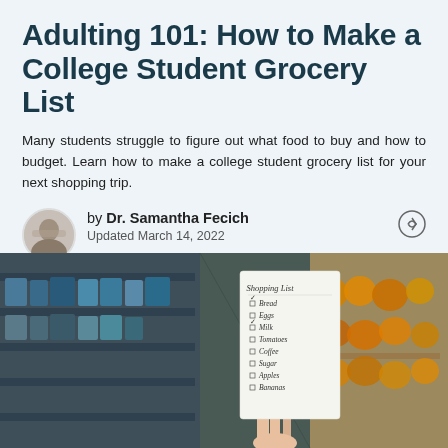Adulting 101: How to Make a College Student Grocery List
Many students struggle to figure out what food to buy and how to budget. Learn how to make a college student grocery list for your next shopping trip.
by Dr. Samantha Fecich
Updated March 14, 2022
Edited by Hannah Muniz
[Figure (photo): A hand holding a handwritten shopping list (Shopping List with items: Bread, Eggs, Milk, Tomatoes, Coffee, Sugar, Apples, Bananas) in front of grocery store shelves stocked with colorful products.]